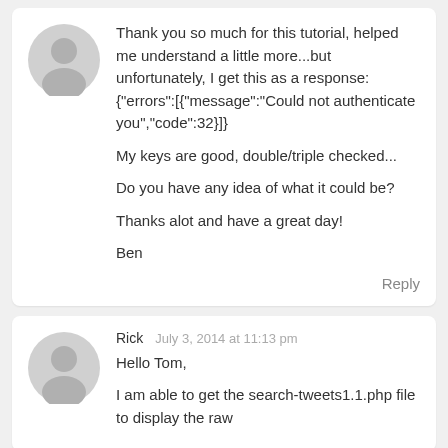[Figure (illustration): Gray avatar/user icon circle placeholder]
Thank you so much for this tutorial, helped me understand a little more...but unfortunately, I get this as a response: {"errors":[{"message":"Could not authenticate you","code":32}]}

My keys are good, double/triple checked...

Do you have any idea of what it could be?

Thanks alot and have a great day!

Ben
Reply
[Figure (illustration): Gray avatar/user icon circle placeholder]
Rick
July 3, 2014 at 11:13 pm
Hello Tom,

I am able to get the search-tweets1.1.php file to display the raw